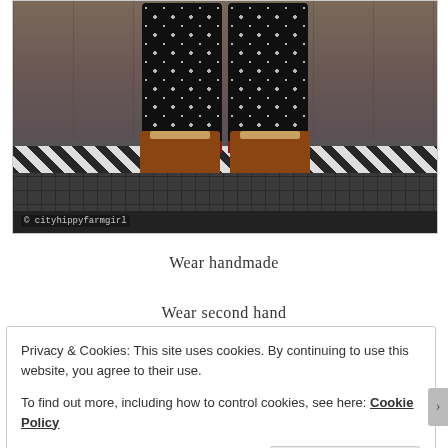[Figure (photo): Photo of a person's legs wearing black skull-and-crossbones patterned leggings with dark red cuffs and brown lace-up boots, standing on a black-and-white patterned tile floor in front of a dark wooden door. Watermark reads '© cityhippyfarmgirl'.]
Wear handmade
Wear second hand
Privacy & Cookies: This site uses cookies. By continuing to use this website, you agree to their use.
To find out more, including how to control cookies, see here: Cookie Policy
Close and accept